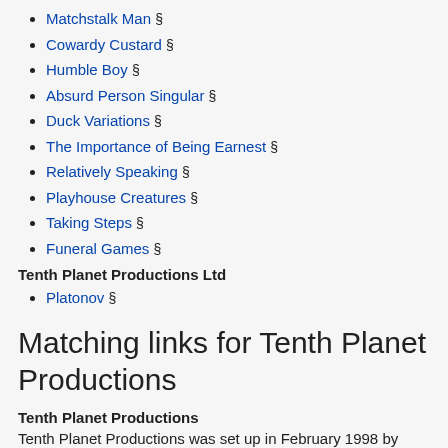Matchstalk Man §
Cowardy Custard §
Humble Boy §
Absurd Person Singular §
Duck Variations §
The Importance of Being Earnest §
Relatively Speaking §
Playhouse Creatures §
Taking Steps §
Funeral Games §
Tenth Planet Productions Ltd
Platonov §
Matching links for Tenth Planet Productions
Tenth Planet Productions
Tenth Planet Productions was set up in February 1998 by Alexander Holt, Mark Underwood and Euan Morton after they completed their NCDT training at Mountview Theatre School. We have produced numerous plays since the company was